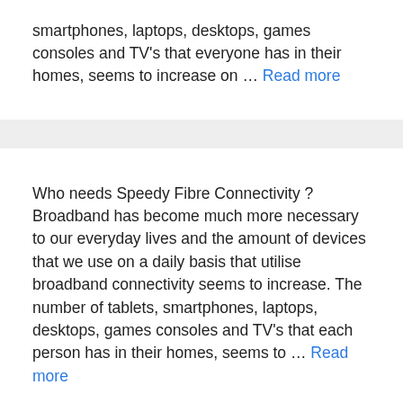smartphones, laptops, desktops, games consoles and TV's that everyone has in their homes, seems to increase on … Read more
Who needs Speedy Fibre Connectivity ? Broadband has become much more necessary to our everyday lives and the amount of devices that we use on a daily basis that utilise broadband connectivity seems to increase. The number of tablets, smartphones, laptops, desktops, games consoles and TV's that each person has in their homes, seems to … Read more